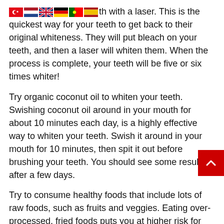You [flags] whitening teeth with a laser. This is the quickest way for your teeth to get back to their original whiteness. They will put bleach on your teeth, and then a laser will whiten them. When the process is complete, your teeth will be five or six times whiter!
Try organic coconut oil to whiten your teeth. Swishing coconut oil around in your mouth for about 10 minutes each day, is a highly effective way to whiten your teeth. Swish it around in your mouth for 10 minutes, then spit it out before brushing your teeth. You should see some results after a few days.
Try to consume healthy foods that include lots of raw foods, such as fruits and veggies. Eating over-processed, fried foods puts you at higher risk for developing cavities and discolored teeth. Don't eat these if you want to keep your smile bright. Snacking all the time can also cause problems with your teeth, so avoid it if possible.